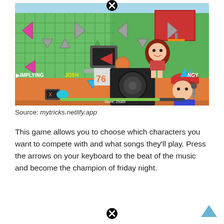[Figure (screenshot): Screenshot of a Friday Night Funkin style rhythm game on a basketball court, showing cartoon characters with arrow keys on screen, a score display, and player characters including a robot with a TV head, a girl sitting on speakers, and a boy in a red cap with a microphone. Labels visible: IMPLYING, JOSH, NGY.]
Source: mytricks.netlify.app
This game allows you to choose which characters you want to compete with and what songs they'll play. Press the arrows on your keyboard to the beat of the music and become the champion of friday night.